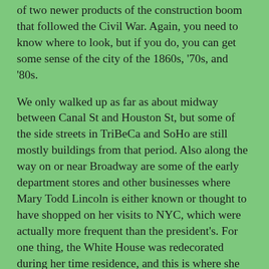of two newer products of the construction boom that followed the Civil War. Again, you need to know where to look, but if you do, you can get some sense of the city of the 1860s, '70s, and '80s.
We only walked up as far as about midway between Canal St and Houston St, but some of the side streets in TriBeCa and SoHo are still mostly buildings from that period. Also along the way on or near Broadway are some of the early department stores and other businesses where Mary Todd Lincoln is either known or thought to have shopped on her visits to NYC, which were actually more frequent than the president's. For one thing, the White House was redecorated during her time residence, and this is where she did much of the purchasing for it.
Matt pointed out when we started that there's an area farther north, leading to Cooper Union, that we know Lincoln knew, but very few buildings there survive from that time EXCEPT Cooper Union, which of course is one of the seminal sites of Lincoln's life. We do know that on at least two of his visits to NYC he stayed at the Astor Hotel, which is long since gone, but whose site Matt pointed out to us right across Broadway from our starting point at the southern end of City Hall Park (i.e., the block north of St. Paul's). One of the visits was when Lincoln, still a locally little